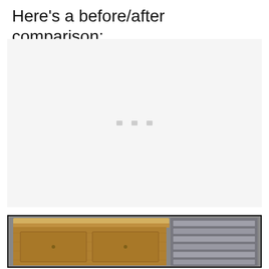Here's a before/after comparison:
[Figure (photo): Placeholder image area (light gray background with three small gray squares/dots in the center) representing a 'before' photo not yet loaded]
[Figure (photo): Photo of a wooden furniture piece (appears to be a dresser or cabinet) with a light wood top and body on the left side, and shelving or bookcase unit visible on the right side with gray shelves. Black border around the image.]